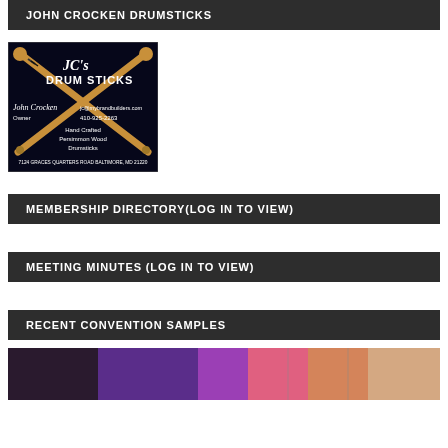JOHN CROCKEN DRUMSTICKS
[Figure (photo): Business card for JC's Drum Sticks showing crossed drumsticks on dark background. John Crocken, Owner. jc@mybrandbuilders.com, 410-925-2263. Hand Crafted Persimmon Wood Drumsticks. 7124 Graces Quarters Road Baltimore, MD 21220]
MEMBERSHIP DIRECTORY(LOG IN TO VIEW)
MEETING MINUTES (LOG IN TO VIEW)
RECENT CONVENTION SAMPLES
[Figure (photo): Colorful photo strip showing convention samples with purple, pink, orange and skin-tone color sections]